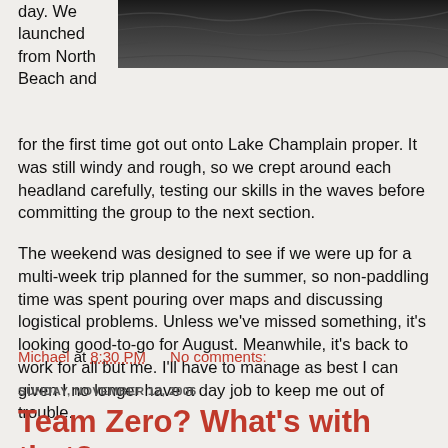[Figure (photo): Dark water surface photograph, partial view at top of page]
day. We launched from North Beach and for the first time got out onto Lake Champlain proper. It was still windy and rough, so we crept around each headland carefully, testing our skills in the waves before committing the group to the next section.
The weekend was designed to see if we were up for a multi-week trip planned for the summer, so non-paddling time was spent pouring over maps and discussing logistical problems. Unless we've missed something, it's looking good-to-go for August. Meanwhile, it's back to work for all but me. I'll have to manage as best I can given I no longer have a day job to keep me out of trouble.
Michael at 8:30 PM    No comments:
SUNDAY, NOVEMBER 12, 2006
Team Zero? What's with that?